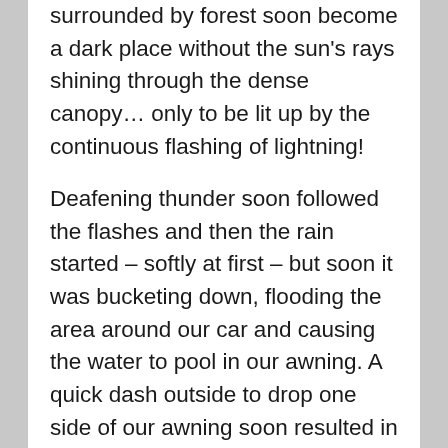surrounded by forest soon become a dark place without the sun's rays shining through the dense canopy… only to be lit up by the continuous flashing of lightning!
Deafening thunder soon followed the flashes and then the rain started – softly at first – but soon it was bucketing down, flooding the area around our car and causing the water to pool in our awning. A quick dash outside to drop one side of our awning soon resulted in a quick drenching, but as suddenly as the storm erupted, calmness soon returned… along with an eerie silence only to be interrupted by the constant dripping from the tree branches and our rooftop tent.